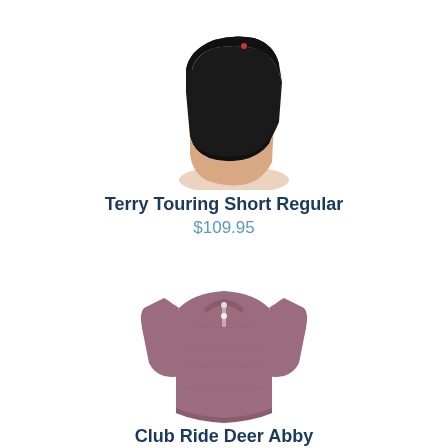[Figure (photo): Side view of black cycling/touring shorts worn by a model, shown from waist to mid-thigh against white background]
Terry Touring Short Regular
$109.95
[Figure (photo): Front view of a dusty rose/mauve short-sleeve cycling jersey with zip neckline, shown on a model against white background]
Club Ride Deer Abby